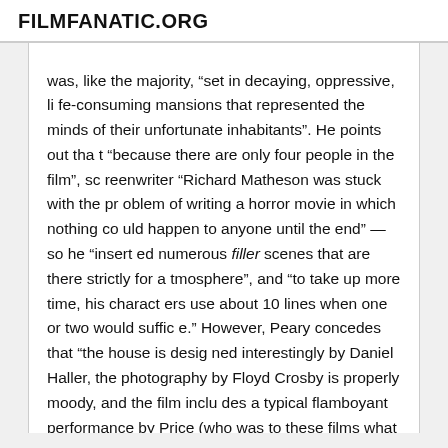FILMFANATIC.ORG
was, like the majority, “set in decaying, oppressive, life-consuming mansions that represented the minds of their unfortunate inhabitants”. He points out that “because there are only four people in the film”, screenwriter “Richard Matheson was stuck with the problem of writing a horror movie in which nothing could happen to anyone until the end” — so he “inserted numerous filler scenes that are there strictly for atmosphere”, and “to take up more time, his characters use about 10 lines when one or two would suffice.” However, Peary concedes that “the house is designed interestingly by Daniel Haller, the photography by Floyd Crosby is properly moody, and the film includes a typical flamboyant performance by Price (who was to these films what John Wayne was to Hawks a